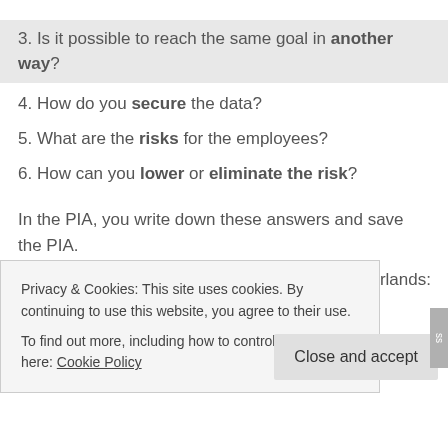3. Is it possible to reach the same goal in another way?
4. How do you secure the data?
5. What are the risks for the employees?
6. How can you lower or eliminate the risk?
In the PIA, you write down these answers and save the PIA.
Just in case the privacy authority (in the Netherlands:
Privacy & Cookies: This site uses cookies. By continuing to use this website, you agree to their use. To find out more, including how to control cookies, see here: Cookie Policy
Close and accept